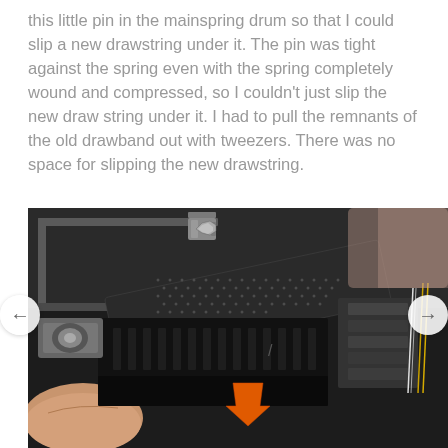this little pin in the mainspring drum so that I could slip a new drawstring under it. The pin was tight against the spring even with the spring completely wound and compressed, so I couldn't just slip the new draw string under it. I had to pull the remnants of the old drawband out with tweezers. There was no space for slipping the new drawstring.
[Figure (photo): Close-up photograph of mechanical components inside a device, showing a knurled cylindrical tool or part, metal brackets, screws, and an orange arrow pointing to a specific detail near the bottom center of the image. A white wire or string is visible on the right side.]